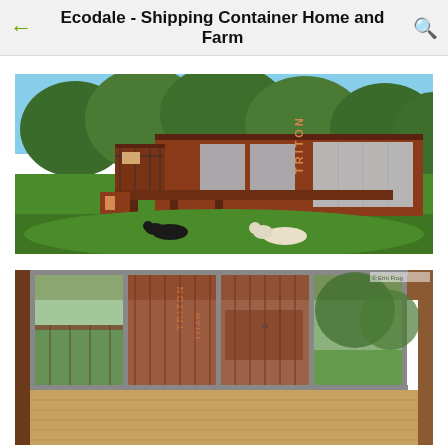Ecodale - Shipping Container Home and Farm
[Figure (photo): Exterior photo of a shipping container home made from Triton containers. The building is rust-red/brown colored, single story, with large glass sliding doors. Two dogs lie on a green lawn in front. Surrounded by lush green trees in the background.]
[Figure (photo): Interior photo looking out through large floor-to-ceiling glass sliding doors toward the exterior of the shipping container structure. The containers with TRITON markings are visible through the glass. Wooden flooring visible inside.]